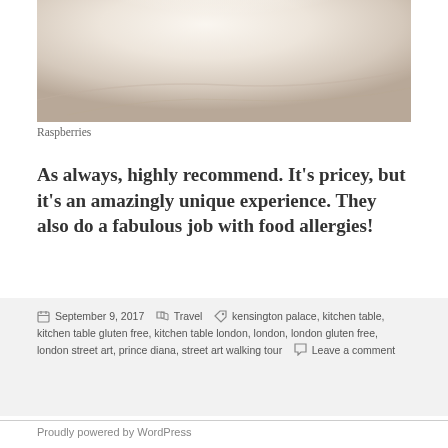[Figure (photo): Close-up photo of a white bowl or plate, light beige/cream tones with soft lighting from above]
Raspberries
As always, highly recommend. It's pricey, but it's an amazingly unique experience. They also do a fabulous job with food allergies!
September 9, 2017  Travel  kensington palace, kitchen table, kitchen table gluten free, kitchen table london, london, london gluten free, london street art, prince diana, street art walking tour  Leave a comment
Proudly powered by WordPress